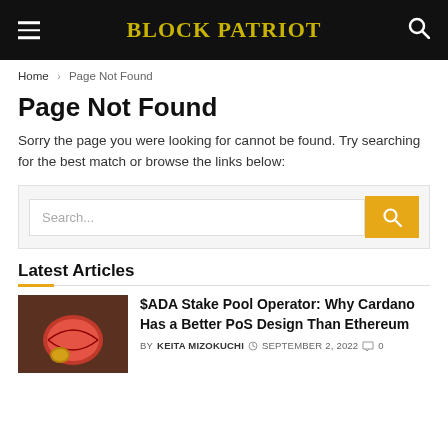BLOCK PATRIOT
Home > Page Not Found
Page Not Found
Sorry the page you were looking for cannot be found. Try searching for the best match or browse the links below:
Latest Articles
$ADA Stake Pool Operator: Why Cardano Has a Better PoS Design Than Ethereum BY KEITA MIZOKUCHI SEPTEMBER 2, 2022 0